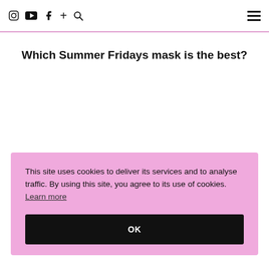Instagram YouTube Facebook + Search (hamburger menu)
Which Summer Fridays mask is the best?
This site uses cookies to deliver its services and to analyse traffic. By using this site, you agree to its use of cookies. Learn more
OK